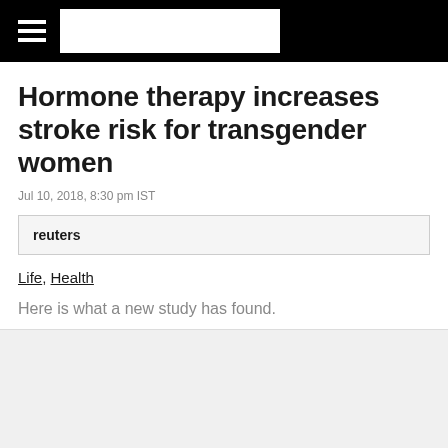reuters
Hormone therapy increases stroke risk for transgender women
Jul 10, 2018, 8:30 pm IST
reuters
Life, Health
Here is what a new study has found.